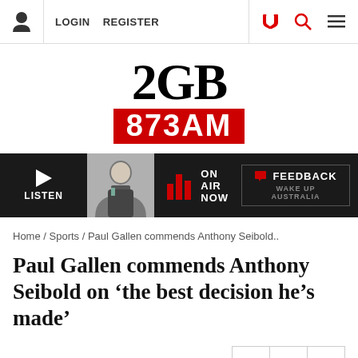LOGIN  REGISTER
[Figure (logo): 2GB 873AM radio station logo. '2GB' in large black serif font, '873AM' in white bold text on red background.]
[Figure (infographic): Radio player bar: LISTEN button with play triangle, presenter photo, bar chart icon with ON AIR NOW text, FEEDBACK button, WAKE UP AUSTRALIA text]
Home / Sports / Paul Gallen commends Anthony Seibold..
Paul Gallen commends Anthony Seibold on ‘the best decision he’s made’
25/08/2020   SHARE ARTICLE